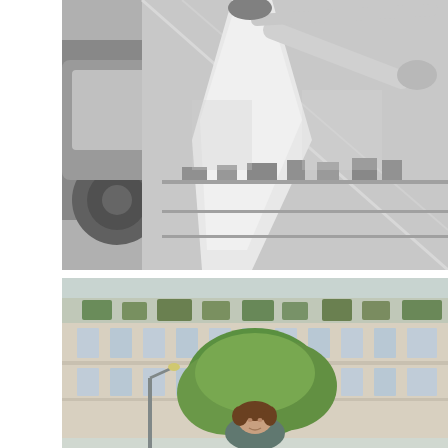[Figure (photo): Black and white photograph showing a person in a white dress or outfit reaching toward or looking into a shop window display. A car wheel is visible in the background on the left. The window appears to have various items displayed on shelves.]
[Figure (photo): Color photograph of a woman with brown hair standing outdoors in front of a Parisian-style building with many windows. There is a large green tree behind her and street lamps visible. The building appears to be a classic Haussmann-style Parisian apartment building.]